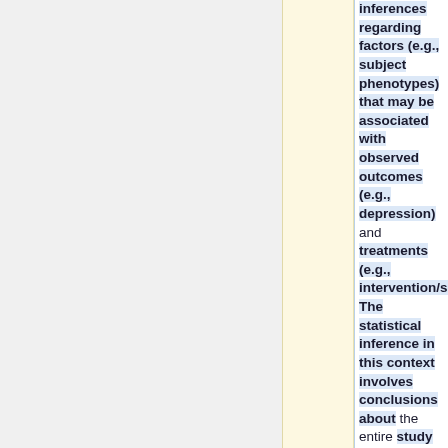inferences regarding factors (e.g., subject phenotypes) that may be associated with observed outcomes (e.g., depression) and treatments (e.g., intervention/sham). The statistical inference in this context involves conclusions about the entire study population and stratified cohorts based